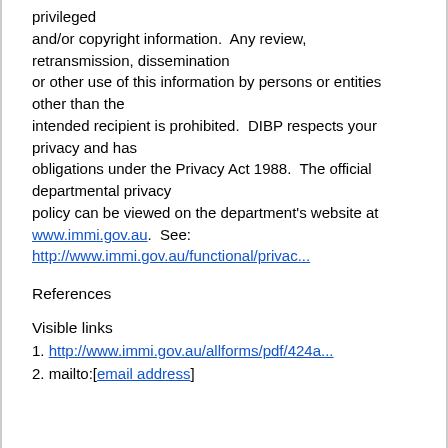privileged and/or copyright information.  Any review, retransmission, dissemination or other use of this information by persons or entities other than the intended recipient is prohibited.  DIBP respects your privacy and has obligations under the Privacy Act 1988.  The official departmental privacy policy can be viewed on the department's website at www.immi.gov.au.  See: http://www.immi.gov.au/functional/privac...
References
Visible links
1. http://www.immi.gov.au/allforms/pdf/424a...
2. mailto:[email address]